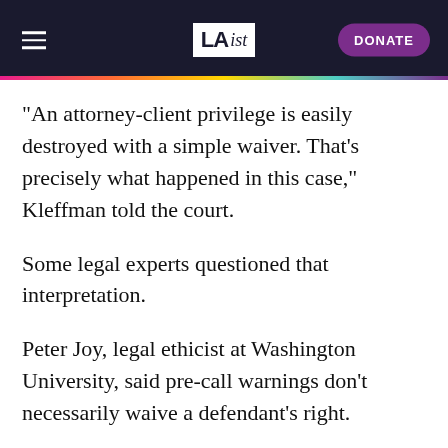LAist — DONATE
"An attorney-client privilege is easily destroyed with a simple waiver. That's precisely what happened in this case," Kleffman told the court.
Some legal experts questioned that interpretation.
Peter Joy, legal ethicist at Washington University, said pre-call warnings don't necessarily waive a defendant's right.
"First of all, saying you understand that it's being recorded is different than saying you waive your